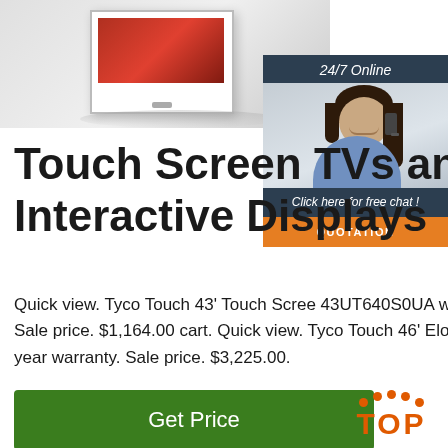[Figure (photo): Product image area showing a wall-mounted display/TV with gradient background]
[Figure (infographic): 24/7 Online chat widget with agent photo, 'Click here for free chat!' text, and orange QUOTATION button]
Touch Screen TVs and Interactive Displays
Quick view. Tyco Touch 43' Touch Scree 43UT640S0UA with External Touch Scre Overlay (Windows) Sale price. $1,164.00 cart. Quick view. Tyco Touch 46' Elo 460 Interactive Touchscreen - LCD - 1920 x 1 year warranty. Sale price. $3,225.00.
[Figure (other): Green 'Get Price' button]
[Figure (logo): TOP logo with orange dots forming a hat/triangle shape above the word TOP]